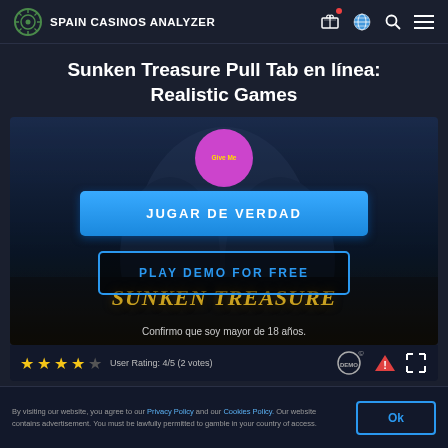SPAIN CASINOS ANALYZER
Sunken Treasure Pull Tab en línea: Realistic Games
[Figure (screenshot): Game preview for Sunken Treasure Pull Tab with play buttons: 'JUGAR DE VERDAD' (blue), 'PLAY DEMO FOR FREE' (outlined), age confirmation text 'Confirmo que soy mayor de 18 años.', and a pink circle button labeled 'Give Me'. Background shows underwater treasure theme with 'Sunken Treasure' golden text.]
User Rating: 4/5 (2 votes)
By visiting our website, you agree to our Privacy Policy and our Cookies Policy. Our website contains advertisement. You must be lawfully permitted to gamble in your country of access.